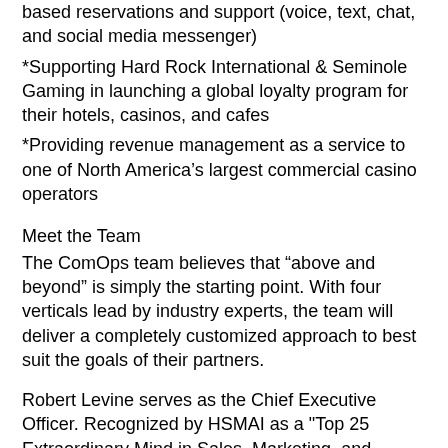based reservations and support (voice, text, chat, and social media messenger)
*Supporting Hard Rock International & Seminole Gaming in launching a global loyalty program for their hotels, casinos, and cafes
*Providing revenue management as a service to one of North America's largest commercial casino operators
Meet the Team
The ComOps team believes that “above and beyond” is simply the starting point. With four verticals lead by industry experts, the team will deliver a completely customized approach to best suit the goals of their partners.
Robert Levine serves as the Chief Executive Officer. Recognized by HSMAI as a "Top 25 Extraordinary Mind in Sales, Marketing, and Revenue Optimization" Robert has spent his career developing strategy for industry leading